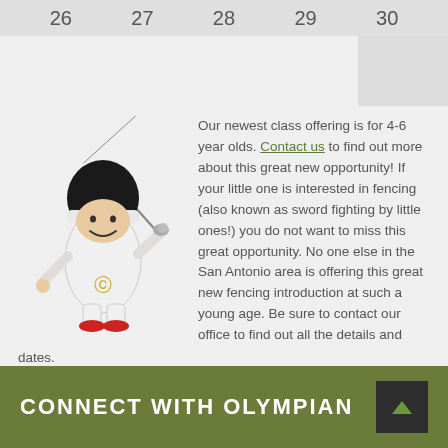| 26 | 27 | 28 | 29 | 30 |
| --- | --- | --- | --- | --- |
[Figure (illustration): Cartoon fencer mascot wearing white fencing uniform with gold laurel emblem, black helmet, holding a fencing sword/foil]
Our newest class offering is for 4-6 year olds. Contact us to find out more about this great new opportunity! If your little one is interested in fencing (also known as sword fighting by little ones!) you do not want to miss this great opportunity. No one else in the San Antonio area is offering this great new fencing introduction at such a young age. Be sure to contact our office to find out all the details and dates.
CONNECT WITH OLYMPIAN